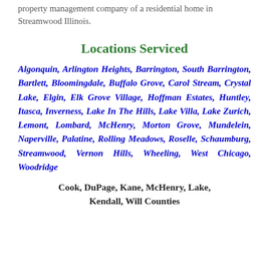property management company of a residential home in Streamwood Illinois.
Locations Serviced
Algonquin, Arlington Heights, Barrington, South Barrington, Bartlett, Bloomingdale, Buffalo Grove, Carol Stream, Crystal Lake, Elgin, Elk Grove Village, Hoffman Estates, Huntley, Itasca, Inverness, Lake In The Hills, Lake Villa, Lake Zurich, Lemont, Lombard, McHenry, Morton Grove, Mundelein, Naperville, Palatine, Rolling Meadows, Roselle, Schaumburg, Streamwood, Vernon Hills, Wheeling, West Chicago, Woodridge
Cook, DuPage, Kane, McHenry, Lake, Kendall, Will Counties